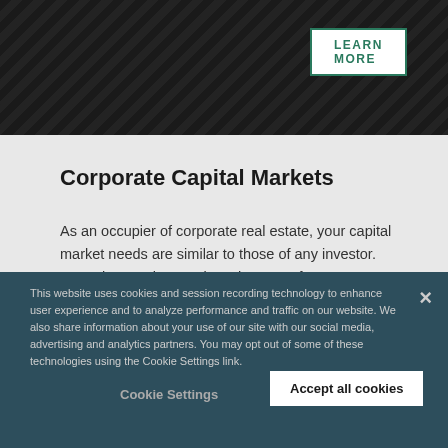[Figure (photo): Dark banner with diagonal stripe pattern background]
LEARN MORE
Corporate Capital Markets
As an occupier of corporate real estate, your capital market needs are similar to those of any investor. But unless real estate is at the core of your business, great opportunities can be missed.
This website uses cookies and session recording technology to enhance user experience and to analyze performance and traffic on our website. We also share information about your use of our site with our social media, advertising and analytics partners. You may opt out of some of these technologies using the Cookie Settings link.
Cookie Settings
Accept all cookies